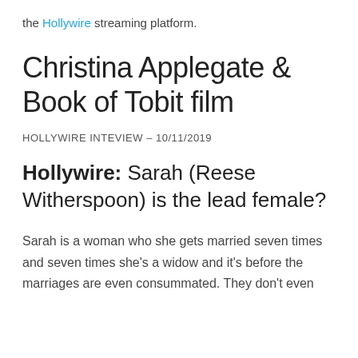the Hollywire streaming platform.
Christina Applegate & Book of Tobit film
HOLLYWIRE INTEVIEW – 10/11/2019
Hollywire: Sarah (Reese Witherspoon) is the lead female?
Sarah is a woman who she gets married seven times and seven times she's a widow and it's before the marriages are even consummated. They don't even